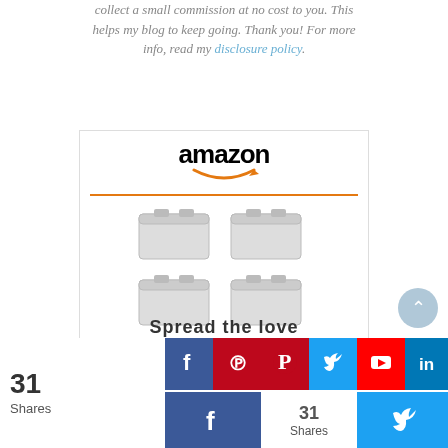collect a small commission at no cost to you. This helps my blog to keep going. Thank you! For more info, read my disclosure policy.
[Figure (other): Amazon product widget showing Sterilite 19859806, 30... storage bins (6 bins in 2x3 grid), priced at $54.89 with Prime badge and Shop now button]
Spread the love
[Figure (other): Social sharing buttons bar: Facebook, Pinterest, Twitter, YouTube, LinkedIn, Reddit, Share icons in two rows. Shows 31 Shares count.]